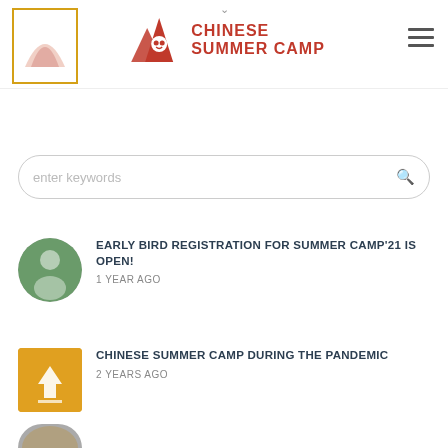[Figure (logo): Chinese Summer Camp logo with tent/mountain icon in red and gold border on left, central logo with tent icon and CHINESE SUMMER CAMP text in red]
enter keywords
EARLY BIRD REGISTRATION FOR SUMMER CAMP'21 IS OPEN!
1 YEAR AGO
CHINESE SUMMER CAMP DURING THE PANDEMIC
2 YEARS AGO